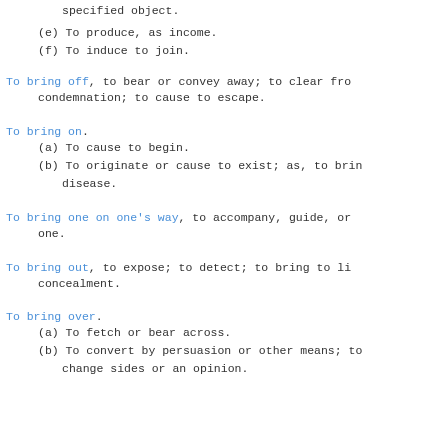specified object.
(e) To produce, as income.
(f) To induce to join.
To bring off, to bear or convey away; to clear from condemnation; to cause to escape.
To bring on.
(a) To cause to begin.
(b) To originate or cause to exist; as, to bring on disease.
To bring one on one's way, to accompany, guide, or one.
To bring out, to expose; to detect; to bring to light from concealment.
To bring over.
(a) To fetch or bear across.
(b) To convert by persuasion or other means; to change sides or an opinion.